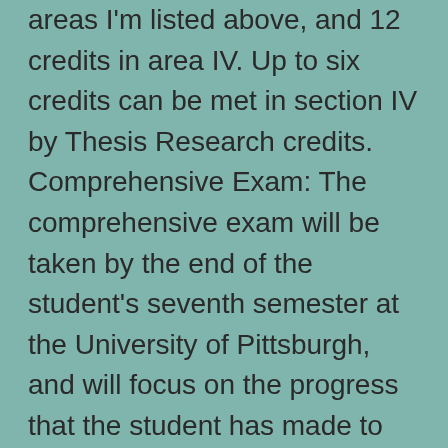areas I'm listed above, and 12 credits in area IV. Up to six credits can be met in section IV by Thesis Research credits. Comprehensive Exam: The comprehensive exam will be taken by the end of the student's seventh semester at the University of Pittsburgh, and will focus on the progress that the student has made to date on his/her research. The comprehensive exam will consist of a written report prepared by the student on his/her research, followed by an oral examination. The exam will be administered by a committee of four faculty members, at least two of whom (including the